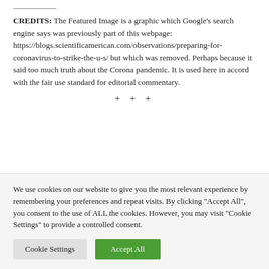CREDITS: The Featured Image is a graphic which Google's search engine says was previously part of this webpage: https://blogs.scientificamerican.com/observations/preparing-for-coronavirus-to-strike-the-u-s/ but which was removed. Perhaps because it said too much truth about the Corona pandemic. It is used here in accord with the fair use standard for editorial commentary.
+ + +
We use cookies on our website to give you the most relevant experience by remembering your preferences and repeat visits. By clicking "Accept All", you consent to the use of ALL the cookies. However, you may visit "Cookie Settings" to provide a controlled consent.